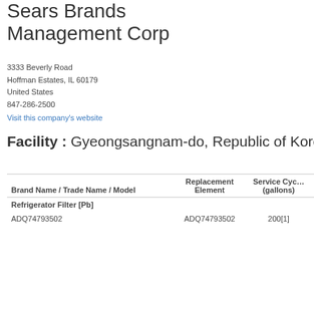Sears Brands Management Corp
3333 Beverly Road
Hoffman Estates, IL 60179
United States
847-286-2500
Visit this company's website
Facility : Gyeongsangnam-do, Republic of Korea
| Brand Name / Trade Name / Model | Replacement Element | Service Cycle (gallons) |
| --- | --- | --- |
| Refrigerator Filter [Pb] |  |  |
| ADQ74793502 | ADQ74793502 | 200[1] |